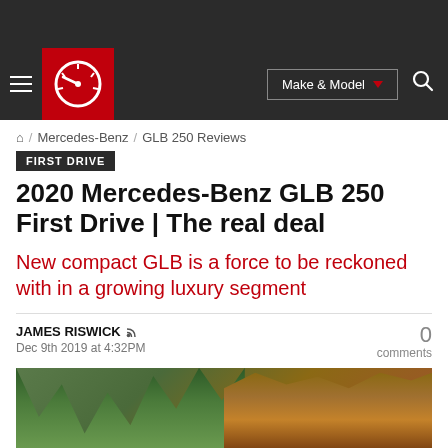[Figure (screenshot): Dark navigation bar with hamburger menu, Edmunds logo in red square, Make & Model dropdown button, and search icon]
⌂ / Mercedes-Benz / GLB 250 Reviews
FIRST DRIVE
2020 Mercedes-Benz GLB 250 First Drive | The real deal
New compact GLB is a force to be reckoned with in a growing luxury segment
JAMES RISWICK
Dec 9th 2019 at 4:32PM
0 comments
[Figure (photo): Outdoor photo showing conifer trees on the left and red/orange rocky cliffs on the right, with a vehicle partially visible]